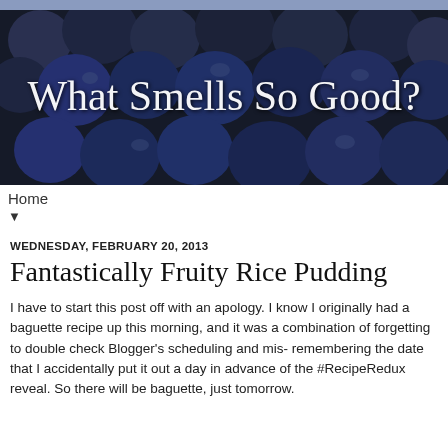[Figure (photo): Blog banner image with dark blueberries background and cursive white text reading 'What Smells So Good?']
Home
▼
WEDNESDAY, FEBRUARY 20, 2013
Fantastically Fruity Rice Pudding
I have to start this post off with an apology. I know I originally had a baguette recipe up this morning, and it was a combination of forgetting to double check Blogger's scheduling and mis-remembering the date that I accidentally put it out a day in advance of the #RecipeRedux reveal. So there will be baguette, just tomorrow.